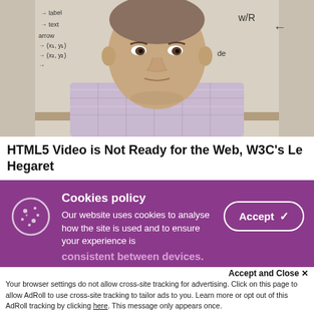[Figure (photo): A man seated in front of a whiteboard with handwritten notes about labels, text, arrows and coordinate notation. He is wearing a plaid shirt.]
HTML5 Video is Not Ready for the Web, W3C's Le Hegaret
CAMBRIDGE, Mass — Despite the growing demand for HTML5, and its deployment by many big online players, its commercial introduction is premature as there is no standard for the new technology, says Philippe Le Hegaret, leader of effort at the World Wide Web Consortium (W3C) to establish
Cookies policy
Our website uses cookies to analyse how the site is used and to ensure your experience is
consistent between devices.
Accept and Close ✕
Your browser settings do not allow cross-site tracking for advertising. Click on this page to allow AdRoll to use cross-site tracking to tailor ads to you. Learn more or opt out of this AdRoll tracking by clicking here. This message only appears once.